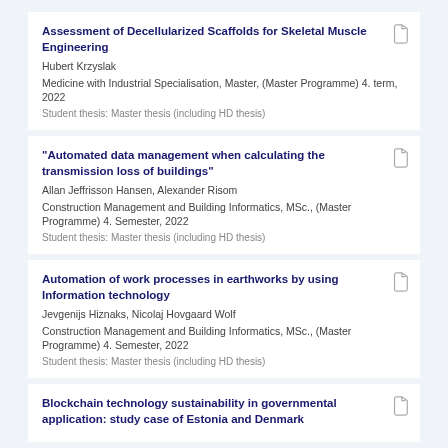Assessment of Decellularized Scaffolds for Skeletal Muscle Engineering
Hubert Krzyslak
Medicine with Industrial Specialisation, Master, (Master Programme) 4. term, 2022
Student thesis: Master thesis (including HD thesis)
"Automated data management when calculating the transmission loss of buildings"
Allan Jeffrisson Hansen, Alexander Risom
Construction Management and Building Informatics, MSc., (Master Programme) 4. Semester, 2022
Student thesis: Master thesis (including HD thesis)
Automation of work processes in earthworks by using Information technology
Jevgenijs Hiznaks, Nicolaj Hovgaard Wolf
Construction Management and Building Informatics, MSc., (Master Programme) 4. Semester, 2022
Student thesis: Master thesis (including HD thesis)
Blockchain technology sustainability in governmental application: study case of Estonia and Denmark